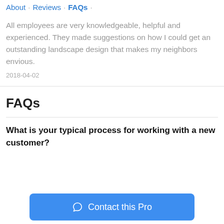About · Reviews · FAQs ·
All employees are very knowledgeable, helpful and experienced. They made suggestions on how I could get an outstanding landscape design that makes my neighbors envious.
2018-04-02
FAQs
What is your typical process for working with a new customer?
Contact this Pro